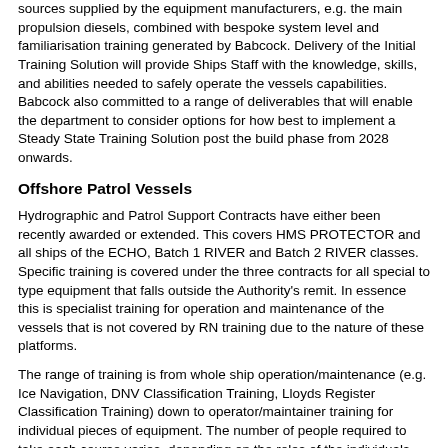sources supplied by the equipment manufacturers, e.g. the main propulsion diesels, combined with bespoke system level and familiarisation training generated by Babcock. Delivery of the Initial Training Solution will provide Ships Staff with the knowledge, skills, and abilities needed to safely operate the vessels capabilities. Babcock also committed to a range of deliverables that will enable the department to consider options for how best to implement a Steady State Training Solution post the build phase from 2028 onwards.
Offshore Patrol Vessels
Hydrographic and Patrol Support Contracts have either been recently awarded or extended. This covers HMS PROTECTOR and all ships of the ECHO, Batch 1 RIVER and Batch 2 RIVER classes. Specific training is covered under the three contracts for all special to type equipment that falls outside the Authority's remit. In essence this is specialist training for operation and maintenance of the vessels that is not covered by RN training due to the nature of these platforms.
The range of training is from whole ship operation/maintenance (e.g. Ice Navigation, DNV Classification Training, Lloyds Register Classification Training) down to operator/maintainer training for individual pieces of equipment. The number of people required to take each course varies, depending on the roles of the individuals however this is defined in the contract. The throughput numbers for each year change depending on rotations and when people have last completed the required courses and their expiry dates.